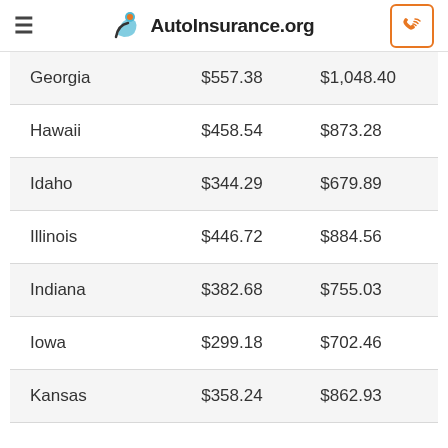AutoInsurance.org
| Georgia | $557.38 | $1,048.40 |
| Hawaii | $458.54 | $873.28 |
| Idaho | $344.29 | $679.89 |
| Illinois | $446.72 | $884.56 |
| Indiana | $382.68 | $755.03 |
| Iowa | $299.18 | $702.46 |
| Kansas | $358.24 | $862.93 |